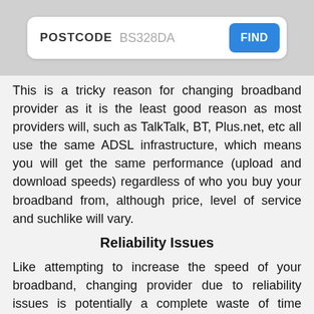[Figure (screenshot): Search bar UI element showing label POSTCODE with placeholder text BS328DA and a blue FIND button]
This is a tricky reason for changing broadband provider as it is the least good reason as most providers will, such as TalkTalk, BT, Plus.net, etc all use the same ADSL infrastructure, which means you will get the same performance (upload and download speeds) regardless of who you buy your broadband from, although price, level of service and suchlike will vary.
Reliability Issues
Like attempting to increase the speed of your broadband, changing provider due to reliability issues is potentially a complete waste of time without knowing what the cause of the issues are.